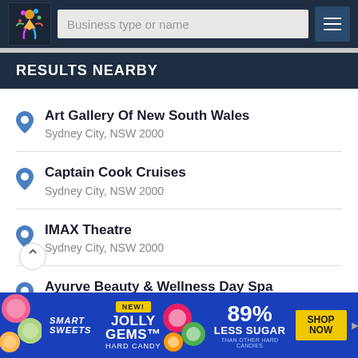Business type or name
RESULTS NEARBY
Art Gallery Of New South Wales
Sydney City, NSW 2000
Captain Cook Cruises
Sydney City, NSW 2000
IMAX Theatre
Sydney City, NSW 2000
Ayurve Beauty & Wellness Day Spa
Sydney City, NSW 2000
[Figure (infographic): Smart Sweets ad banner: Jolly Gems Hard Candy, NEW!, 89% Less Sugar than other hard candies, SHOP NOW button]